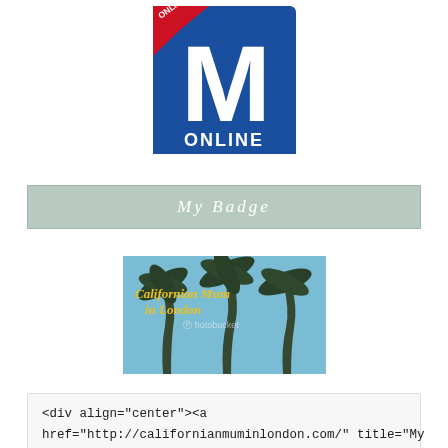[Figure (logo): Mumsnet Online logo — blue square with large white M and red 'ONLINE' badge, text 'ONLINE' at bottom in white on blue background]
My Badge
[Figure (photo): Blog badge image for 'Californian Mum in London' — palm trees against blue sky with yellow italic text overlay, Photobucket watermark visible]
<div align="center"><a href="http://californianmuminlondon.com/" title="My